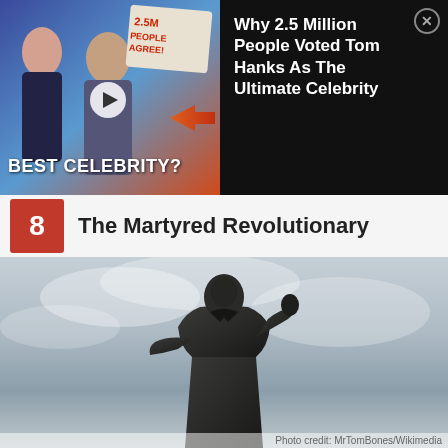[Figure (screenshot): Advertisement banner: image of woman and Tom Hanks with '2.5M PEOPLE AGREE' badge, arrow, 'BEST CELEBRITY?' label, and play button on left; black background with text 'Why 2.5 Million People Voted Tom Hanks As The Ultimate Celebrity' and close button on right]
8 The Martyred Revolutionary
[Figure (photo): Low-angle photograph of a large dark bronze statue of a person in a long coat against an overcast cloudy sky]
Photo credit: MrTomBones/Wikimedia